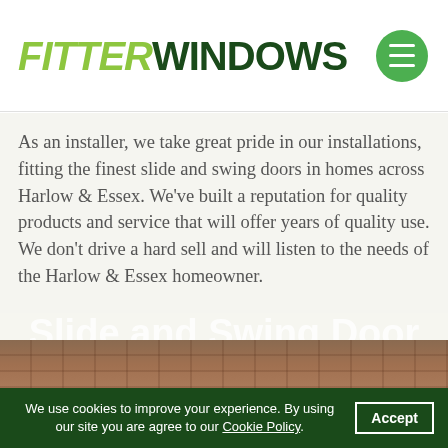FITTERWINDOWS
As an installer, we take great pride in our installations, fitting the finest slide and swing doors in homes across Harlow & Essex. We've built a reputation for quality products and service that will offer years of quality use. We don't drive a hard sell and will listen to the needs of the Harlow & Essex homeowner.
Slide and Swing Door Prices Harlow & Essex
[Figure (photo): Exterior photo of a brick building roofline]
We use cookies to improve your experience. By using our site you are agree to our Cookie Policy. Accept